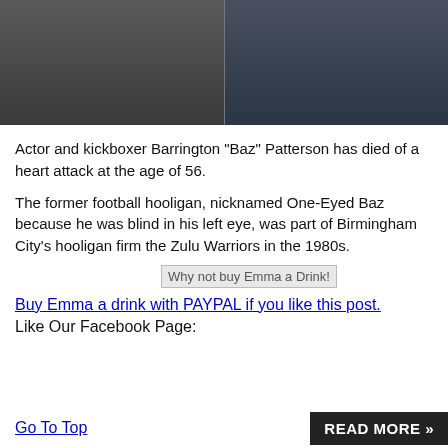[Figure (photo): Two side-by-side photos of a person in dark clothing, cropped to show torso/shoulder area against a dark background.]
Actor and kickboxer Barrington "Baz" Patterson has died of a heart attack at the age of 56.
The former football hooligan, nicknamed One-Eyed Baz because he was blind in his left eye, was part of Birmingham City's hooligan firm the Zulu Warriors in the 1980s.
[Figure (illustration): Image with alt text: Why not buy Emma a Drink!]
Buy Emma a drink with PAYPAL if you like this post.
Like Our Facebook Page:
Go To Top   READ MORE »